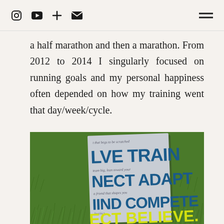Instagram YouTube + Email | Menu
a half marathon and then a marathon. From 2012 to 2014 I singularly focused on running goals and my personal happiness often depended on how my training went that day/week/cycle.
[Figure (photo): A motivational book or poster resting on green grass, showing text: 'LVE TRAIN', 'NECT ADAPT', 'LIND COMPETE', 'ECT BELIEVE.' and 'TRAINING JOURNAL' at the bottom, with cursive smaller text interspersed.]